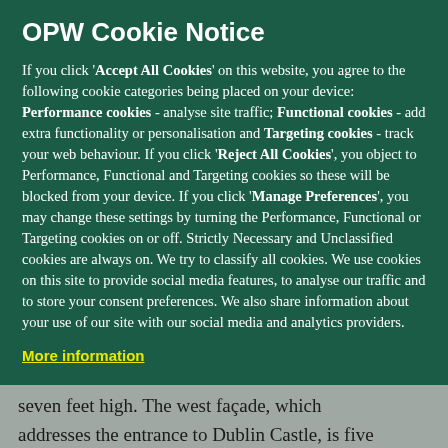OPW Cookie Notice
If you click 'Accept All Cookies' on this website, you agree to the following cookie categories being placed on your device: Performance cookies - analyse site traffic; Functional cookies - add extra functionality or personalisation and Targeting cookies - track your web behaviour. If you click 'Reject All Cookies', you object to Performance, Functional and Targeting cookies so these will be blocked from your device. If you click 'Manage Preferences', you may change these settings by turning the Performance, Functional or Targeting cookies on or off. Strictly Necessary and Unclassified cookies are always on. We try to classify all cookies. We use cookies on this site to provide social media features, to analyse our traffic and to store your consent preferences. We also share information about your use of our site with our social media and analytics providers.
More information
seven feet high. The west façade, which addresses the entrance to Dublin Castle, is five